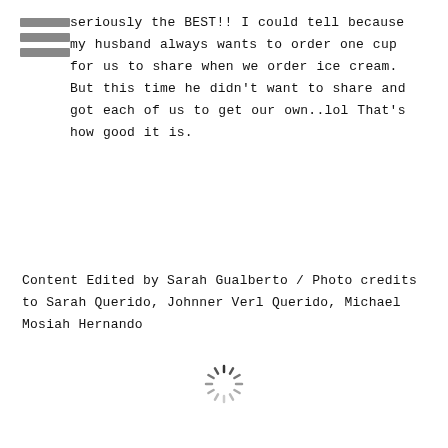[Figure (other): Three horizontal bars icon (hamburger menu icon) in gray, positioned top-left]
seriously the BEST!! I could tell because my husband always wants to order one cup for us to share when we order ice cream. But this time he didn't want to share and got each of us to get our own..lol That's how good it is.
Content Edited by Sarah Gualberto / Photo credits to Sarah Querido, Johnner Verl Querido, Michael Mosiah Hernando
[Figure (other): A loading spinner icon (circular dashes) centered near the bottom of the page]